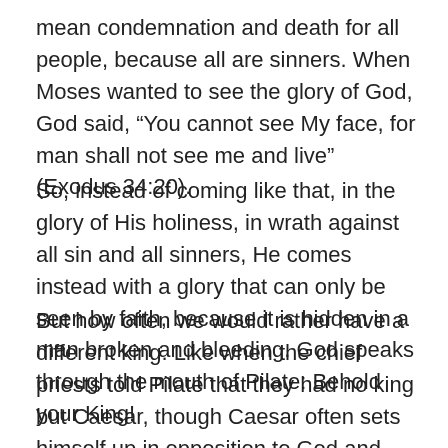mean condemnation and death for all people, because all are sinners. When Moses wanted to see the glory of God, God said, “You cannot see My face, for man shall not see me and live” (Exodus 34:20).
So, instead of coming like that, in the glory of His holiness, in wrath against all sin and all sinners, He comes instead with a glory that can only be seen by faith, because it is hidden in a man broken and bleeding. God speaks through the mouth of Pilate: Behold your King!
But how often we would rather have a different king. Like when the chief priests told Pilate that they had no king but Caesar, though Caesar often sets himself up in opposition to God and His people. The terrible irony of God’s own people taking refuge in the rulers of this world, rather than in the King of kings! Not just in human rulers, but in the